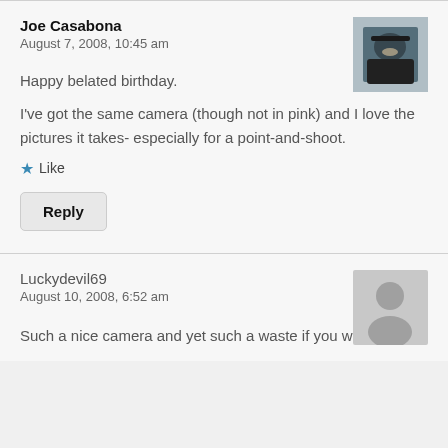Joe Casabona
August 7, 2008, 10:45 am
[Figure (photo): Profile photo of Joe Casabona, a man wearing a cap, dark background]
Happy belated birthday.
I've got the same camera (though not in pink) and I love the pictures it takes- especially for a point-and-shoot.
★ Like
Reply
Luckydevil69
August 10, 2008, 6:52 am
[Figure (illustration): Generic user avatar placeholder silhouette on grey background]
Such a nice camera and yet such a waste if you won't